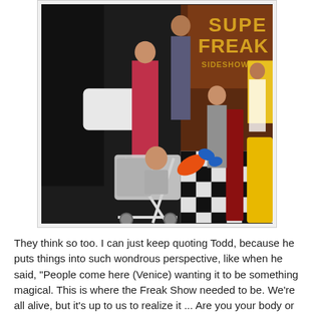[Figure (photo): Indoor photo of a group of people including children and adults in a venue with checkered floor and a 'Super Freak' sign on the wall. A baby in a stroller holds a balloon animal in the foreground, and a person in a yellow jacket is visible on the right.]
They think so too. I can just keep quoting Todd, because he puts things into such wondrous perspective, like when he said, "People come here (Venice) wanting it to be something magical. This is where the Freak Show needed to be. We're all alive, but it's up to us to realize it ... Are you your body or your soul? ... This is LIVING Art!" Again, what Venice was